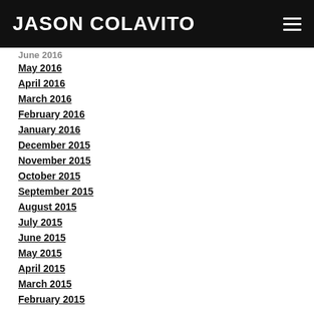JASON COLAVITO
June 2016
May 2016
April 2016
March 2016
February 2016
January 2016
December 2015
November 2015
October 2015
September 2015
August 2015
July 2015
June 2015
May 2015
April 2015
March 2015
February 2015